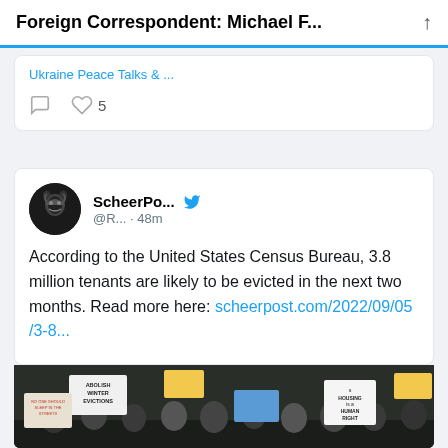Foreign Correspondent: Michael F...
Ukraine Peace Talks &...
♡ 5
ScheerPo... @R... · 48m
According to the United States Census Bureau, 3.8 million tenants are likely to be evicted in the next two months. Read more here: scheerpost.com/2022/09/05/3-8...
[Figure (photo): Protest photo showing demonstrators holding signs including 'Abolish Winter Evictions', 'No One Should Have to Sleep in the Streets', and 'Housing is a Human Right']